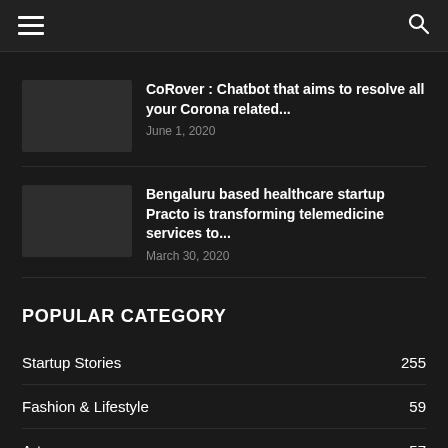≡  🔍
CoRover : Chatbot that aims to resolve all your Corona related...
June 1, 2020
Bengaluru based healthcare startup Practo is transforming telemedicine services to...
March 30, 2020
POPULAR CATEGORY
Startup Stories  255
Fashion & Lifestyle  59
Art  57